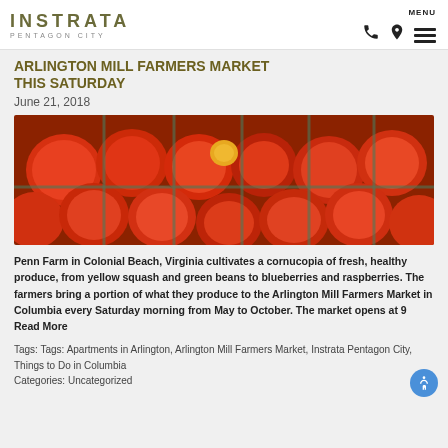INSTRATA PENTAGON CITY
ARLINGTON MILL FARMERS MARKET THIS SATURDAY
June 21, 2018
[Figure (photo): Close-up photo of red tomatoes in green cardboard pint containers at a farmers market]
Penn Farm in Colonial Beach, Virginia cultivates a cornucopia of fresh, healthy produce, from yellow squash and green beans to blueberries and raspberries. The farmers bring a portion of what they produce to the Arlington Mill Farmers Market in Columbia every Saturday morning from May to October. The market opens at 9  Read More
Tags: Tags: Apartments in Arlington, Arlington Mill Farmers Market, Instrata Pentagon City, Things to Do in Columbia Categories: Uncategorized